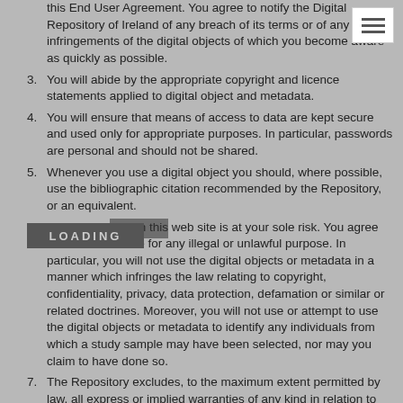this End User Agreement. You agree to notify the Digital Repository of Ireland of any breach of its terms or of any infringements of the digital objects of which you become aware as quickly as possible.
3. You will abide by the appropriate copyright and licence statements applied to digital object and metadata.
4. You will ensure that means of access to data are kept secure and used only for appropriate purposes. In particular, passwords are personal and should not be shared.
5. Whenever you use a digital object you should, where possible, use the bibliographic citation recommended by the Repository, or an equivalent.
6. Use of the data on this web site is at your sole risk. You agree not to use this site for any illegal or unlawful purpose. In particular, you will not use the digital objects or metadata in a manner which infringes the law relating to copyright, confidentiality, privacy, data protection, defamation or similar or related doctrines. Moreover, you will not use or attempt to use the digital objects or metadata to identify any individuals from which a study sample may have been selected, nor may you claim to have done so.
7. The Repository excludes, to the maximum extent permitted by law, all express or implied warranties of any kind in relation to any digital object or metadata; in particular, the Repository shall not be liable for any loss or damage (i) which may be suffered or incurred by you or a third party in respect of the use by you of any digital object or metadata, or (ii) which may arise directly or indirectly in respect of the use by you of any digital object or metadata.
8. You will offer for deposit any new digital objects which have been derived from the digital objects supplied.
9. Any breach of this End User Agreement will lead to the Modal of